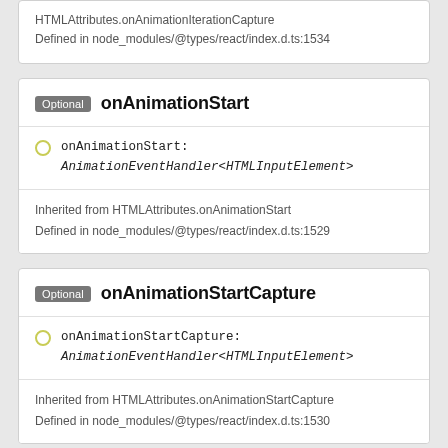HTMLAttributes.onAnimationIterationCapture
Defined in node_modules/@types/react/index.d.ts:1534
Optional onAnimationStart
onAnimationStart: AnimationEventHandler<HTMLInputElement>
Inherited from HTMLAttributes.onAnimationStart
Defined in node_modules/@types/react/index.d.ts:1529
Optional onAnimationStartCapture
onAnimationStartCapture: AnimationEventHandler<HTMLInputElement>
Inherited from HTMLAttributes.onAnimationStartCapture
Defined in node_modules/@types/react/index.d.ts:1530